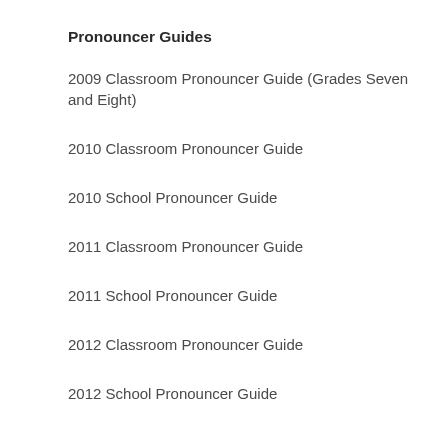Pronouncer Guides
2009 Classroom Pronouncer Guide (Grades Seven and Eight)
2010 Classroom Pronouncer Guide
2010 School Pronouncer Guide
2011 Classroom Pronouncer Guide
2011 School Pronouncer Guide
2012 Classroom Pronouncer Guide
2012 School Pronouncer Guide